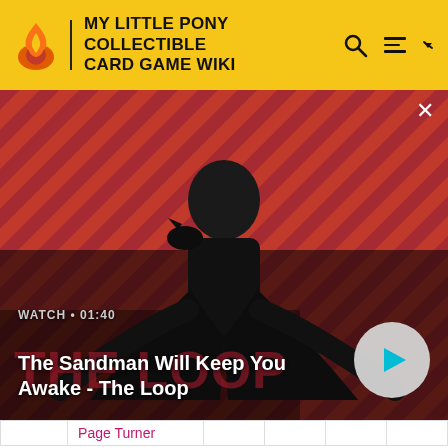MY LITTLE PONY COLLECTIBLE CARD GAME WIKI
[Figure (screenshot): Video thumbnail for 'The Sandman Will Keep You Awake - The Loop' showing a dark-clad figure with a raven on a red and black striped background. Shows WATCH · 01:40 label and a play button.]
|  | Page Turner |  |  |  |  |
| --- | --- | --- | --- | --- | --- |
| 37 | Owlowiscious, Reshelver | 2 | 2 |  |  |
| 38 | Princess Luna, Web of ... | 2 | 2 | 2 |  |